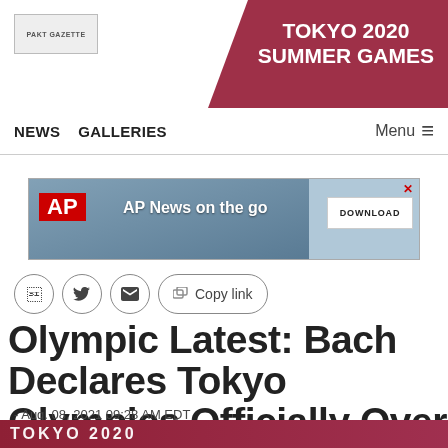TOKYO 2020 SUMMER GAMES
NEWS   GALLERIES   Menu
[Figure (screenshot): AP News advertisement banner: 'AP News on the go' with DOWNLOAD button and silhouettes of journalists]
Copy link (social sharing buttons: Facebook, Twitter, Email)
Olympic Latest: Bach Declares Tokyo Olympics Officially Over
- Aug. 08, 2021 09:28 AM EDT
[Figure (photo): Bottom image strip showing Tokyo 2020 branding in red/maroon]